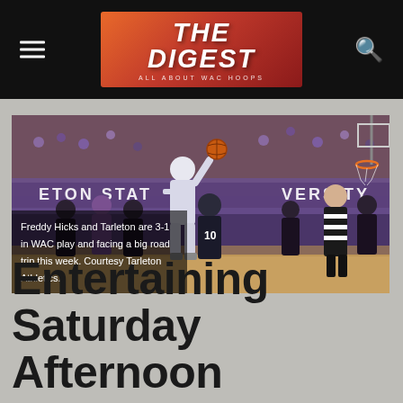THE DIGEST — ALL ABOUT WAC HOOPS
[Figure (photo): Basketball game photo: A Tarleton State player goes up for a layup or dunk during a WAC basketball game. A referee in a striped shirt is visible on the right, and players from both teams surround the action. The Tarleton State University banner is visible on the arena wall in the background. Courtesy Tarleton Athletics.]
Freddy Hicks and Tarleton are 3-1 in WAC play and facing a big road trip this week. Courtesy Tarleton Athletics.
Entertaining Saturday Afternoon